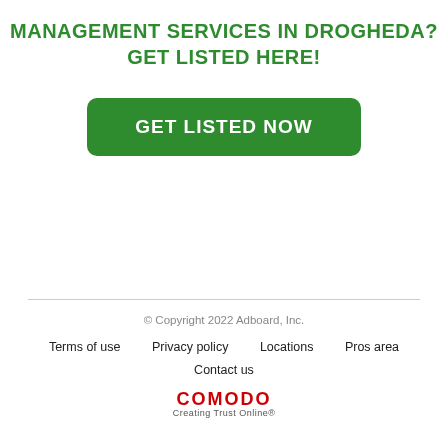MANAGEMENT SERVICES IN DROGHEDA?
GET LISTED HERE!
GET LISTED NOW
© Copyright 2022 Adboard, Inc.
Terms of use   Privacy policy   Locations   Pros area   Contact us
COMODO Creating Trust Online®